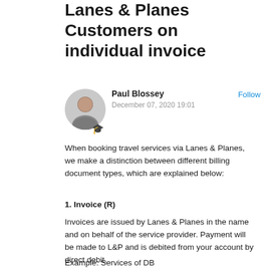Lanes & Planes Customers on individual invoice
[Figure (photo): Circular avatar photo of Paul Blossey, a bald man smiling, with a graduation cap emoji below]
Paul Blossey
December 07, 2020 19:01
Follow
When booking travel services via Lanes & Planes, we make a distinction between different billing document types, which are explained below:
1. Invoice (R)
Invoices are issued by Lanes & Planes in the name and on behalf of the service provider. Payment will be made to L&P and is debited from your account by direct debit.
Example: Services of DB